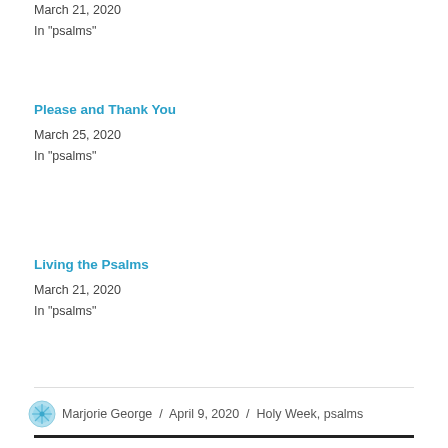March 21, 2020
In "psalms"
Please and Thank You
March 25, 2020
In "psalms"
Living the Psalms
March 21, 2020
In "psalms"
Marjorie George / April 9, 2020 / Holy Week, psalms
Leave a Reply